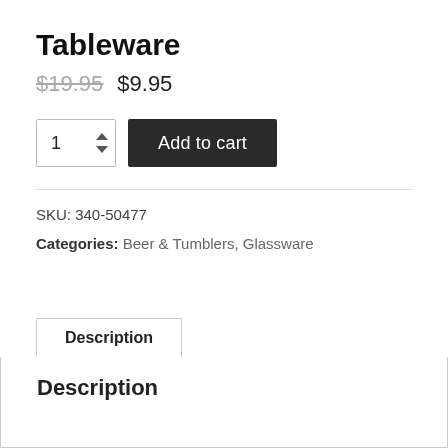Tableware
$19.95  $9.95
1  Add to cart
SKU: 340-50477
Categories: Beer & Tumblers, Glassware
Description
Description